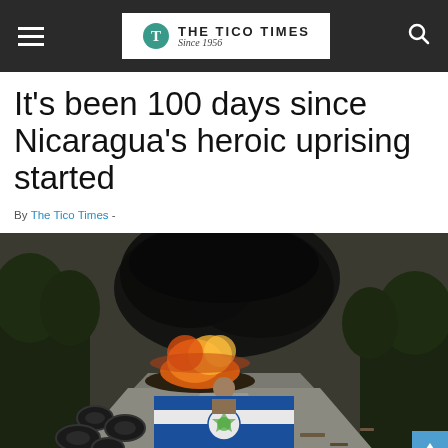THE TICO TIMES Since 1956
It's been 100 days since Nicaragua's heroic uprising started
By The Tico Times -
[Figure (photo): A protester holds a Nicaraguan flag in the middle of a road blocked with burning tires and debris, with thick black smoke rising in the background. Trees line the road. Scattered tires, litter, and a burning barricade are visible.]